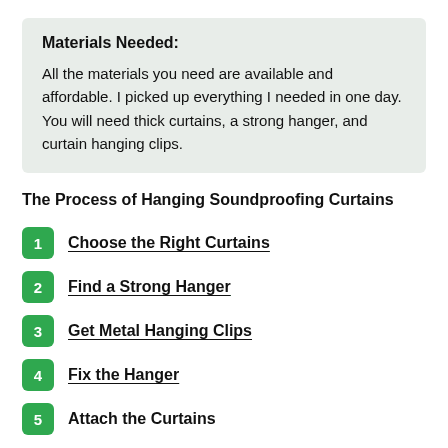Materials Needed: All the materials you need are available and affordable. I picked up everything I needed in one day. You will need thick curtains, a strong hanger, and curtain hanging clips.
The Process of Hanging Soundproofing Curtains
1 Choose the Right Curtains
2 Find a Strong Hanger
3 Get Metal Hanging Clips
4 Fix the Hanger
5 Attach the Curtains